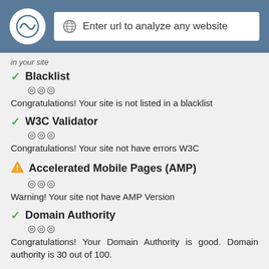Enter url to analyze any website
in your site
Blacklist
⊙⊙⊙
Congratulations! Your site is not listed in a blacklist
W3C Validator
⊙⊙⊙
Congratulations! Your site not have errors W3C
Accelerated Mobile Pages (AMP)
⊙⊙⊙
Warning! Your site not have AMP Version
Domain Authority
⊙⊙⊙
Congratulations! Your Domain Authority is good. Domain authority is 30 out of 100.